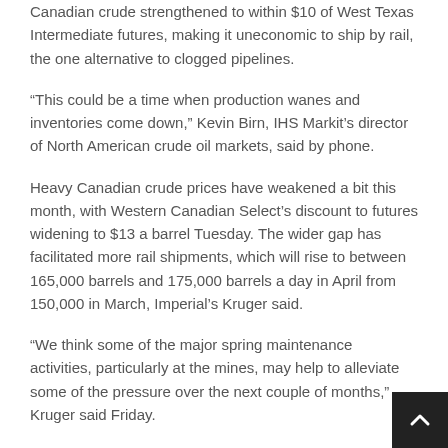Canadian crude strengthened to within $10 of West Texas Intermediate futures, making it uneconomic to ship by rail, the one alternative to clogged pipelines.
“This could be a time when production wanes and inventories come down,” Kevin Birn, IHS Markit’s director of North American crude oil markets, said by phone.
Heavy Canadian crude prices have weakened a bit this month, with Western Canadian Select’s discount to futures widening to $13 a barrel Tuesday. The wider gap has facilitated more rail shipments, which will rise to between 165,000 barrels and 175,000 barrels a day in April from 150,000 in March, Imperial’s Kruger said.
“We think some of the major spring maintenance activities, particularly at the mines, may help to alleviate some of the pressure over the next couple of months,” Kruger said Friday.
Here is some of the planned oilsands maintenance this spring and summer: